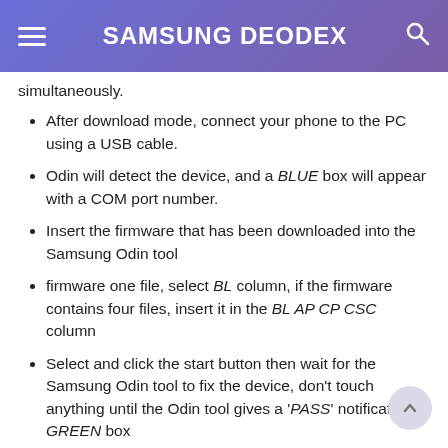SAMSUNG DEODEX
simultaneously.
After download mode, connect your phone to the PC using a USB cable.
Odin will detect the device, and a BLUE box will appear with a COM port number.
Insert the firmware that has been downloaded into the Samsung Odin tool
firmware one file, select BL column, if the firmware contains four files, insert it in the BL AP CP CSC column
Select and click the start button then wait for the Samsung Odin tool to fix the device, don't touch anything until the Odin tool gives a 'PASS' notification GREEN box
After the flash completed, the device will automatically restart, and you can disconnect the